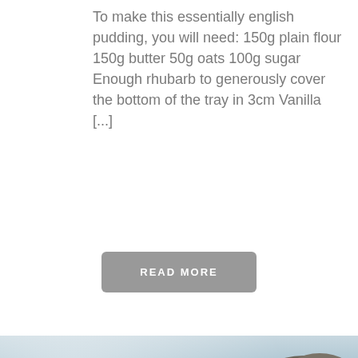To make this essentially english pudding, you will need: 150g plain flour 150g butter 50g oats 100g sugar Enough rhubarb to generously cover the bottom of the tray in 3cm Vanilla [...]
READ MORE
[Figure (photo): A hand holding a bread roll or sandwich filled with pulled/shredded meat, photographed on a beach with sea and rocks in the blurred background.]